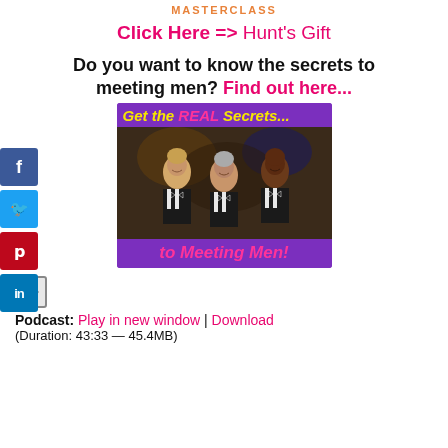MASTERCLASS
Click Here => Hunt's Gift
Do you want to know the secrets to meeting men? Find out here...
[Figure (illustration): Promotional image with purple background showing text 'Get the REAL Secrets...' at top, photo of three men in tuxedos smiling, and text 'to Meeting Men!' at bottom]
[Figure (other): Play button icon]
Podcast: Play in new window | Download
(Duration: 43:33 — 45.4MB)